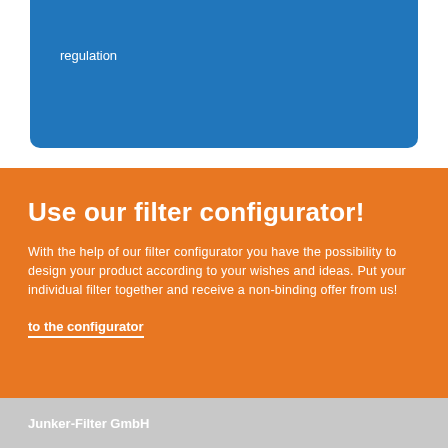regulation
Use our filter configurator!
With the help of our filter configurator you have the possibility to design your product according to your wishes and ideas. Put your individual filter together and receive a non-binding offer from us!
to the configurator
Junker-Filter GmbH